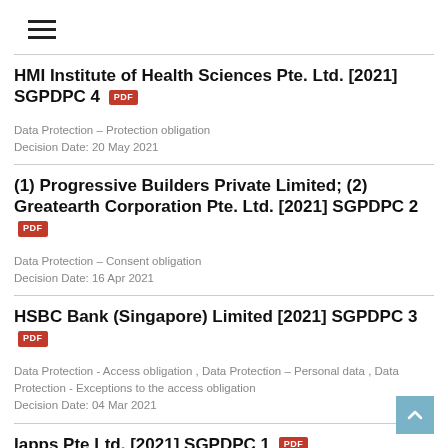HMI Institute of Health Sciences Pte. Ltd. [2021] SGPDPC 4
Data Protection – Protection obligation
Decision Date: 20 May 2021
(1) Progressive Builders Private Limited; (2) Greatearth Corporation Pte. Ltd. [2021] SGPDPC 2
Data Protection – Consent obligation
Decision Date: 16 Apr 2021
HSBC Bank (Singapore) Limited [2021] SGPDPC 3
Data Protection - Access obligation , Data Protection – Personal data , Data Protection - Exceptions to the access obligation
Decision Date: 04 Mar 2021
Iapps Pte Ltd. [2021] SGPDPC 1